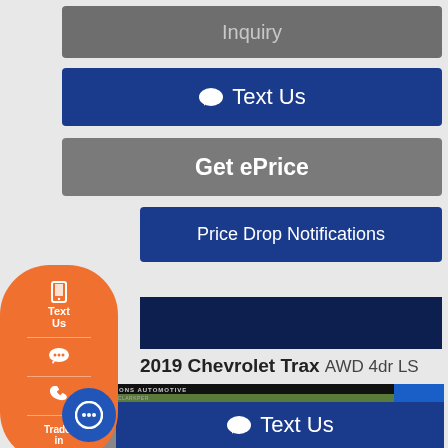Inquiry
Text Us
Get ePrice
Price Drop Notifications
2019 Chevrolet Trax AWD 4dr LS
[Figure (screenshot): Dealership website screenshot showing a 2019 Chevrolet Trax listing with action buttons: Inquiry, Text Us, Get ePrice, Price Drop Notifications, and a photo of the vehicle at a Koons Automotive dealership. An orange floating sidebar shows Text Us, chat, phone, and Trade-in options.]
Text Us